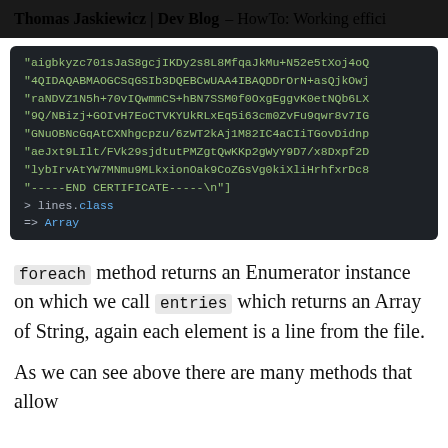Thomas Jaskiewicz | Dev Blog – HowTo: Working effici
[Figure (screenshot): Dark-themed code editor block showing certificate string lines, a lines.class call, and => Array result]
foreach method returns an Enumerator instance on which we call entries which returns an Array of String, again each element is a line from the file.
As we can see above there are many methods that allow